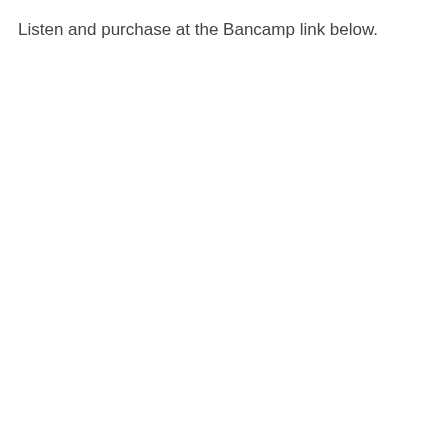Listen and purchase at the Bancamp link below.